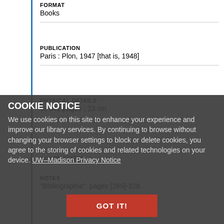FORMAT
Books
PUBLICATION
Paris : Plon, 1947 [that is, 1948]
PHYSICAL DETAILS
vi, 342 pages ; 23 cm
OCLC
ocm05072769
Notes
"Bibliographie": pages [289]-328.
COOKIE NOTICE
We use cookies on this site to enhance your experience and improve our library services. By continuing to browse without changing your browser settings to block or delete cookies, you agree to the storing of cookies and related technologies on your device. UW–Madison Privacy Notice
GOT IT!